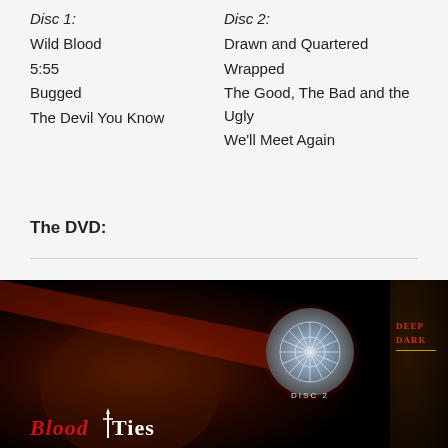Disc 1:
Wild Blood
5:55
Bugged
The Devil You Know
Disc 2:
Drawn and Quartered
Wrapped
The Good, The Bad and the Ugly
We'll Meet Again
The DVD:
[Figure (photo): Blood Ties DVD disc 2 cover image showing a face partially lit in red with a glowing disc overlay labeled DISC 2, and the Blood Ties title text at bottom. Partially visible second image on right edge showing Deep Dark text.]